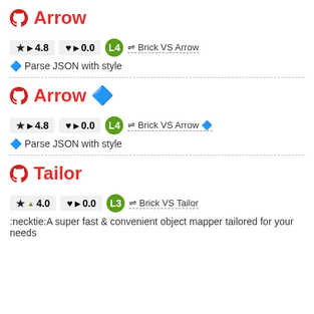Arrow
★ ▶ 4.8   ♥ ▶ 0.0   L4   ⇌ Brick VS Arrow
🔷 Parse JSON with style
Arrow 🔷
★ ▶ 4.8   ♥ ▶ 0.0   L4   ⇌ Brick VS Arrow 🔷
🔷 Parse JSON with style
Tailor
★ ▲ 4.0   ♥ ▶ 0.0   L3   ⇌ Brick VS Tailor
:necktie:A super fast & convenient object mapper tailored for your needs